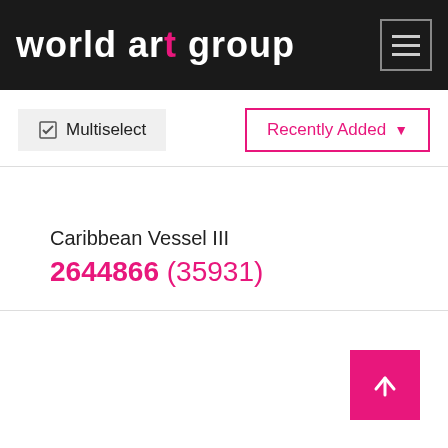world art group
Multiselect
Recently Added
Caribbean Vessel III
2644866 (35931)